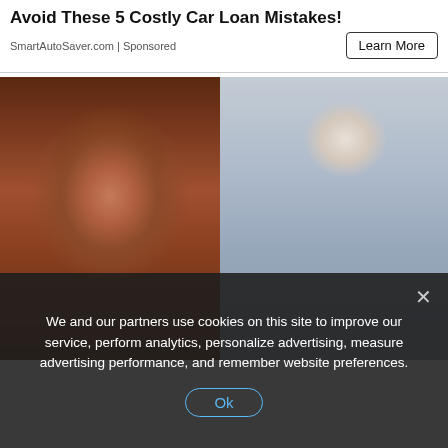Avoid These 5 Costly Car Loan Mistakes!
SmartAutoSaver.com | Sponsored
Learn More
[Figure (photo): Close-up portrait of an elderly woman wearing a dark floral headscarf, with deeply wrinkled skin and a solemn expression]
[Figure (photo): Middle-aged man with silver hair in a dark pinstripe suit standing with arms crossed in what appears to be a store or warehouse setting]
We and our partners use cookies on this site to improve our service, perform analytics, personalize advertising, measure advertising performance, and remember website preferences.
Ok